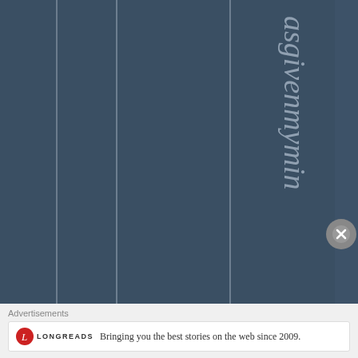[Figure (illustration): Dark blue-grey background with vertical column dividers and vertical italic text reading 'asgivenmymin' arranged top to bottom on the right side]
Advertisements
[Figure (logo): Longreads logo: red circle with L, followed by LONGREADS text in small caps]
Bringing you the best stories on the web since 2009.